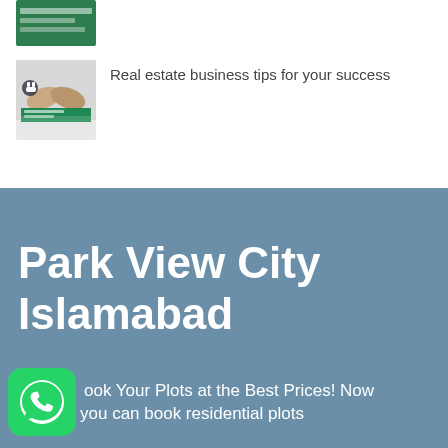[Figure (photo): Thumbnail image of a real estate article, partially visible at top]
[Figure (photo): Thumbnail image showing two people shaking hands with a real estate business tips article overlay]
Real estate business tips for your success
[Figure (photo): Blue-grey banner background for Park View City Islamabad section]
Park View City Islamabad
[Figure (logo): WhatsApp green logo icon]
Book Your Plots at the Best Prices! Now you can book residential plots